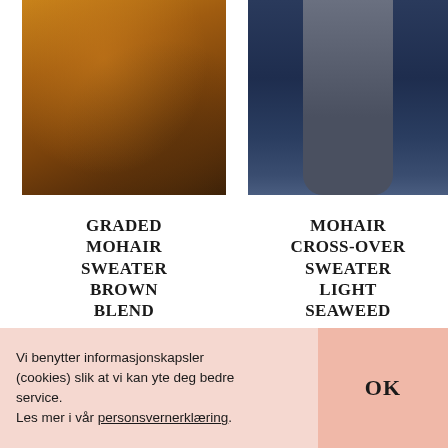[Figure (photo): Close-up of a brown/amber graded mohair sweater with textured fuzzy fabric]
[Figure (photo): Person wearing grey mohair cross-over sweater and dark wide-leg trousers against a dark blue background]
GRADED MOHAIR SWEATER BROWN BLEND
MOHAIR CROSS-OVER SWEATER LIGHT SEAWEED
Vi benytter informasjonskapsler (cookies) slik at vi kan yte deg bedre service.
Les mer i vår personsvernerklæring.
OK